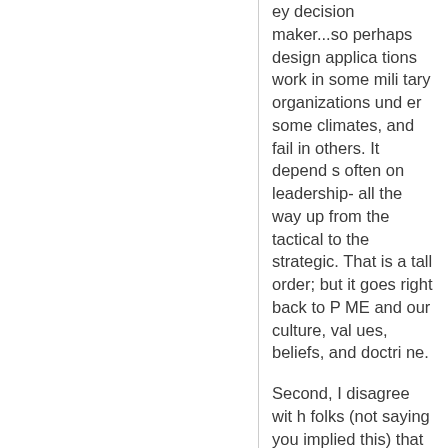ey decision maker...so perhaps design applications work in some military organizations under some climates, and fail in others. It depends often on leadership-all the way up from the tactical to the strategic. That is a tall order; but it goes right back to PME and our culture, values, beliefs, and doctrine.
Second, I disagree with folks (not saying you implied this) that want a staff to "do MDMP right, and then worry abo